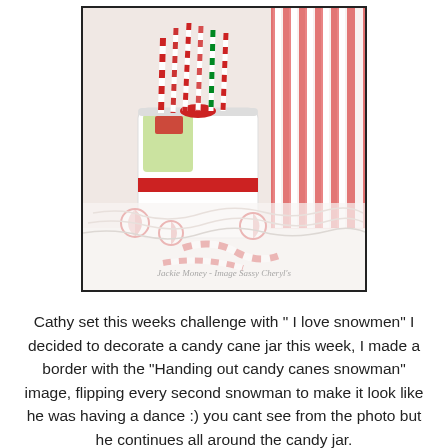[Figure (photo): Photo of a decorated candy cane jar (Grinch-themed canister) filled with candy canes, surrounded by red-and-white striped gift bags and loose peppermint candies on a white surface. Watermark reads 'Jackie Money - Image Sassy Cheryl's'.]
Cathy set this weeks challenge with " I love snowmen" I decided to decorate a candy cane jar this week, I made a border with the "Handing out candy canes snowman" image, flipping every second snowman to make it look like he was having a dance :) you cant see from the photo but he continues all around the candy jar.
To join us all you have to do is use a Sassy Cheryl's image, have a browse HERE for all images and all the bargain